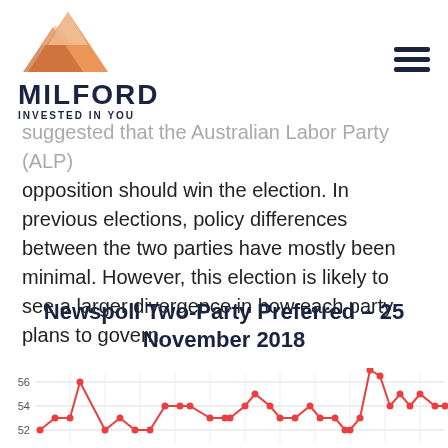MILFORD — INVESTED IN YOU
suggested that the Australian Labor Party (ALP) opposition should win the election. In previous elections, policy differences between the two parties have mostly been minimal. However, this election is likely to see a larger divergence in how each party plans to govern.
Newspoll Two-Party Preferred – 25 November 2018
[Figure (line-chart): Line chart showing Newspoll Two-Party Preferred polling data up to 25 November 2018, with values ranging approximately between 51-56, with a red line showing fluctuating values.]